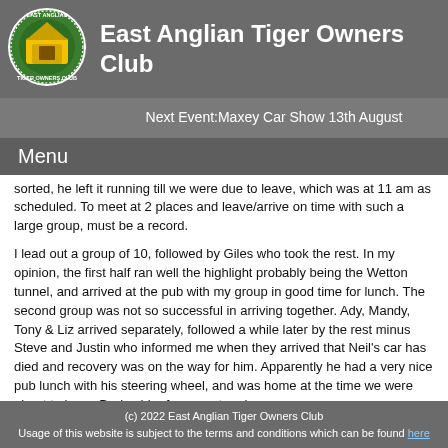[Figure (logo): East Anglian Tiger Owners Club circular logo with green and yellow design]
East Anglian Tiger Owners Club
Next Event:Maxey Car Show 13th August
Menu
sorted, he left it running till we were due to leave, which was at 11 am as scheduled. To meet at 2 places and leave/arrive on time with such a large group, must be a record.
I lead out a group of 10, followed by Giles who took the rest. In my opinion, the first half ran well the highlight probably being the Wetton tunnel, and arrived at the pub with my group in good time for lunch. The second group was not so successful in arriving together. Ady, Mandy, Tony & Liz arrived separately, followed a while later by the rest minus Steve and Justin who informed me when they arrived that Neil's car has died and recovery was on the way for him. Apparently he had a very nice pub lunch with his steering wheel, and was home at the time we were about to leave Derbyshire for our return journey.
After lunch we set off again as one group, all is going well until we reach Longnor and the road is closed, so I follow the diversion signs and the second diversion sign never seems to appear so I make the decision to do a left at the next junction, while the others who which took...
(c) 2022 East Anglian Tiger Owners Club
Usage of this website is subject to the terms and conditions which can be found here